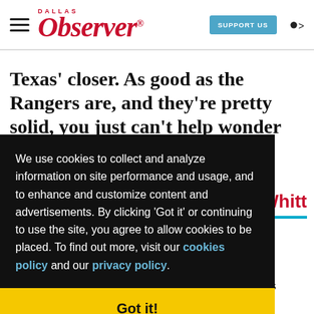Dallas Observer — SUPPORT US
Texas' closer. As good as the Rangers are, and they're pretty solid, you just can't help wonder
We use cookies to collect and analyze information on site performance and usage, and to enhance and customize content and advertisements. By clicking 'Got it' or continuing to use the site, you agree to allow cookies to be placed. To find out more, visit our cookies policy and our privacy policy.
Got it!
us to keep offering readers access to our incisive